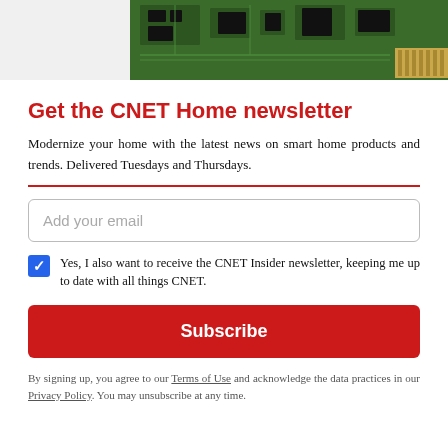[Figure (photo): Partial view of a green circuit board / PCI card against a white background, shown at top of page]
Get the CNET Home newsletter
Modernize your home with the latest news on smart home products and trends. Delivered Tuesdays and Thursdays.
Add your email
Yes, I also want to receive the CNET Insider newsletter, keeping me up to date with all things CNET.
Subscribe
By signing up, you agree to our Terms of Use and acknowledge the data practices in our Privacy Policy. You may unsubscribe at any time.